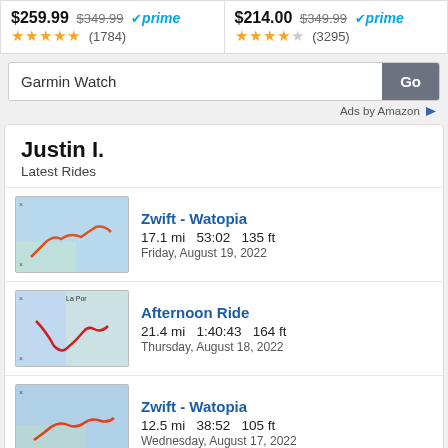[Figure (screenshot): Ad panel showing two products: $259.99 (was $349.99) Prime with 4.5 stars (1784 reviews) and $214.00 (was $349.99) Prime with 4.5 stars (3295 reviews)]
Garmin Watch
Ads by Amazon
Justin I.
Latest Rides
Zwift - Watopia
17.1 mi  53:02  135 ft
Friday, August 19, 2022
Afternoon Ride
21.4 mi  1:40:43  164 ft
Thursday, August 18, 2022
Zwift - Watopia
12.5 mi  38:52  105 ft
Wednesday, August 17, 2022
Zwift - Watopia